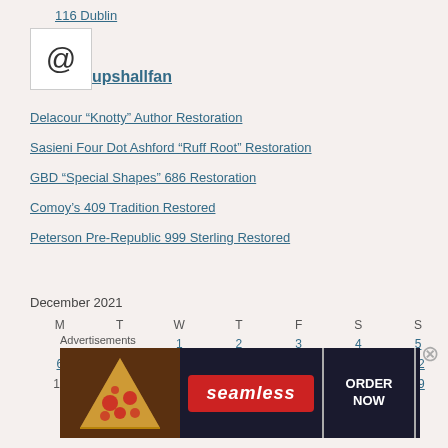116 Dublin
@upshallfan
Delacour “Knotty” Author Restoration
Sasieni Four Dot Ashford “Ruff Root” Restoration
GBD “Special Shapes” 686 Restoration
Comoy’s 409 Tradition Restored
Peterson Pre-Republic 999 Sterling Restored
| M | T | W | T | F | S | S |
| --- | --- | --- | --- | --- | --- | --- |
|  |  | 1 | 2 | 3 | 4 | 5 |
| 6 | 7 | 8 | 9 | 10 | 11 | 12 |
| 13 | 14 | 15 | 16 | 17 | 18 | 19 |
Advertisements
[Figure (illustration): Seamless food delivery advertisement banner with pizza image, seamless logo, and ORDER NOW button]